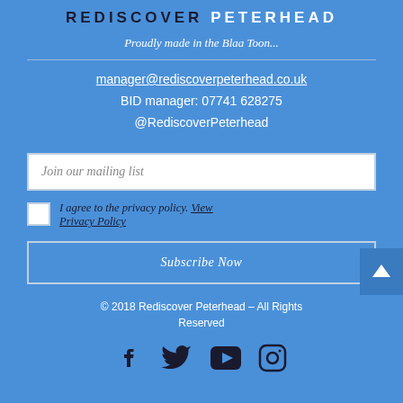REDISCOVER PETERHEAD
Proudly made in the Blaa Toon...
manager@rediscoverpeterhead.co.uk
BID manager: 07741 628275
@RediscoverPeterhead
Join our mailing list
I agree to the privacy policy. View Privacy Policy
Subscribe Now
© 2018 Rediscover Peterhead – All Rights Reserved
[Figure (infographic): Social media icons: Facebook, Twitter, YouTube, Instagram]